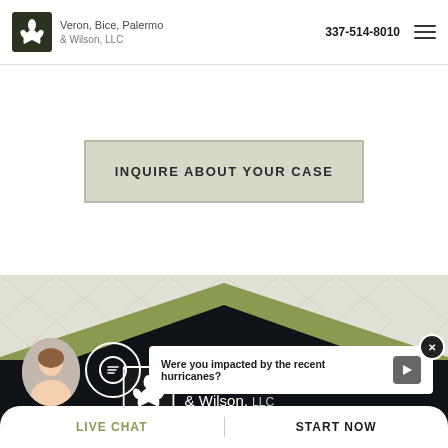Veron, Bice, Palermo & Wilson, LLC | 337-514-8010
INQUIRE ABOUT YOUR CASE
[Figure (screenshot): Law firm website screenshot showing olive-colored pattern section and dark footer]
[Figure (logo): Veron, Bice, Palermo & Wilson LLC logo with fleur-de-lis icon in white on dark background]
Were you impacted by the recent hurricanes?
LIVE CHAT   START NOW